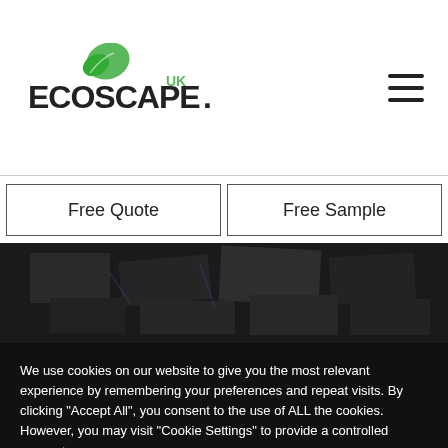[Figure (logo): EcoscapeUK logo with green leaf icon above bold ECOSCAPE text and small UK superscript]
Free Quote
Free Sample
[Figure (photo): Dark overhead photo of paving or decking tiles arranged in a pattern]
We use cookies on our website to give you the most relevant experience by remembering your preferences and repeat visits. By clicking "Accept All", you consent to the use of ALL the cookies.  However, you may visit "Cookie Settings" to provide a controlled consent.
Cookie Settings
Accept All